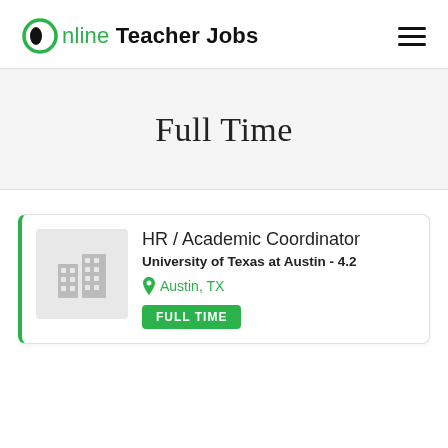Online Teacher Jobs
Full Time
HR / Academic Coordinator
University of Texas at Austin - 4.2
Austin, TX
FULL TIME